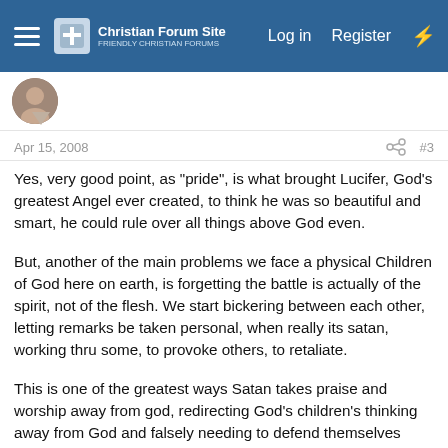Christian Forum Site | Log in | Register
Apr 15, 2008  #3
Yes, very good point, as "pride", is what brought Lucifer, God's greatest Angel ever created, to think he was so beautiful and smart, he could rule over all things above God even.
But, another of the main problems we face a physical Children of God here on earth, is forgetting the battle is actually of the spirit, not of the flesh. We start bickering between each other, letting remarks be taken personal, when really its satan, working thru some, to provoke others, to retaliate.
This is one of the greatest ways Satan takes praise and worship away from god, redirecting God's children's thinking away from God and falsely needing to defend themselves against what they think has to be another person.
God bless!!